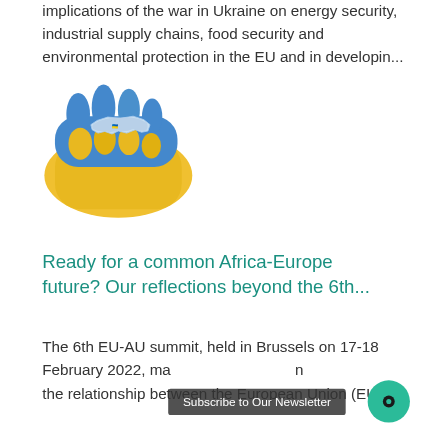implications of the war in Ukraine on energy security, industrial supply chains, food security and environmental protection in the EU and in developin...
[Figure (photo): Photo of two hands (one gloved in blue, one in yellow — colors of the Ukrainian flag) cupping a small map shape of Ukraine.]
Ready for a common Africa-Europe future? Our reflections beyond the 6th...
The 6th EU-AU summit, held in Brussels on 17-18 February 2022, marked a milestone on the relationship between the European Union (EU)